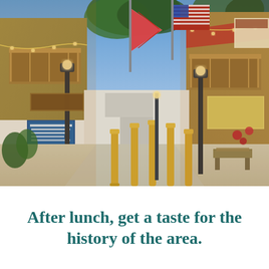[Figure (photo): A pedestrian street scene at dusk in what appears to be St. Augustine, Florida. The street is lined with shops, restaurants, and buildings featuring balconies decorated with string lights. American flags and Florida state flags hang overhead. Golden bollards line the pedestrian walkway. Signs for various shops and a blue information board are visible on the left side.]
After lunch, get a taste for the history of the area.